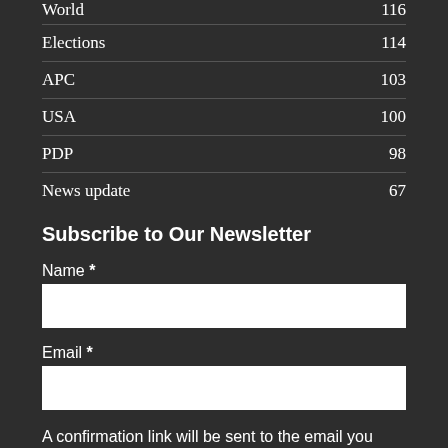World 116
Elections 114
APC 103
USA 100
PDP 98
News update 67
Subscribe to Our Newsletter
Name *
Email *
A confirmation link will be sent to the email you provide.